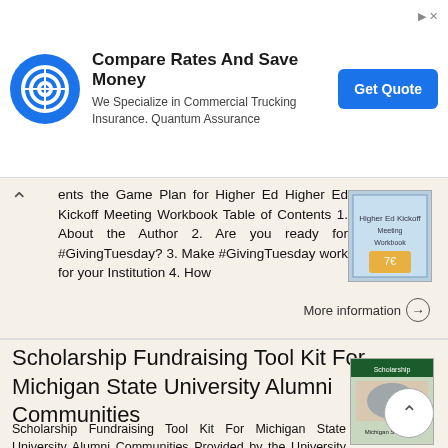[Figure (other): Advertisement banner: Compare Rates And Save Money - We Specialize in Commercial Trucking Insurance. Quantum Assurance. Get Quote button.]
ents the Game Plan for Higher Ed Higher Ed Kickoff Meeting Workbook Table of Contents 1. About the Author 2. Are you ready for #GivingTuesday? 3. Make #GivingTuesday work for your Institution 4. How
More information →
Scholarship Fundraising Tool Kit For Michigan State University Alumni Communities
Scholarship Fundraising Tool Kit For Michigan State University Alumni Communities Provided by the University Scholarships & Fellowships Advancement Office 3 Introduction 4 Development Office Contact Information